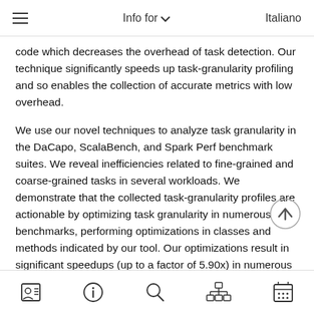☰   Info for ∨   Italiano
code which decreases the overhead of task detection. Our technique significantly speeds up task-granularity profiling and so enables the collection of accurate metrics with low overhead.
We use our novel techniques to analyze task granularity in the DaCapo, ScalaBench, and Spark Perf benchmark suites. We reveal inefficiencies related to fine-grained and coarse-grained tasks in several workloads. We demonstrate that the collected task-granularity profiles are actionable by optimizing task granularity in numerous benchmarks, performing optimizations in classes and methods indicated by our tool. Our optimizations result in significant speedups (up to a factor of 5.90x) in numerous workloads suffering from coarse- and fine-grained tasks in different environments. Our results highlight the importance of analyzing and optimizing task granularity on the Java Virtual Machine.
[contact icon] [info icon] [search icon] [network icon] [calendar icon]